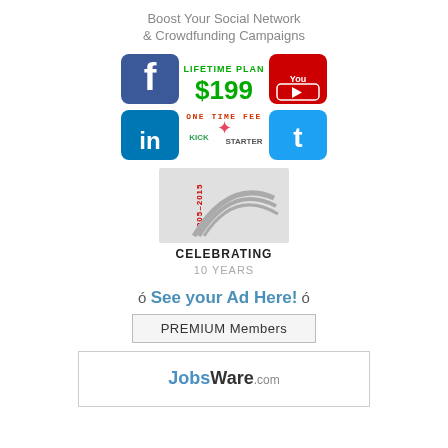Boost Your Social Network & Crowdfunding Campaigns
[Figure (infographic): Social media platform icons (Facebook, YouTube, LinkedIn, Twitter/Kickstarter) with text: LIFETIME PLAN $199 ONE TIME FEE]
[Figure (logo): Celebrating 10 Years badge (2005-2015) with arch graphic, text: CELEBRATING 10 YEARS]
ó See your Ad Here! ó
[Figure (other): PREMIUM Members button]
[Figure (logo): JobsWare.com logo in a bordered box]